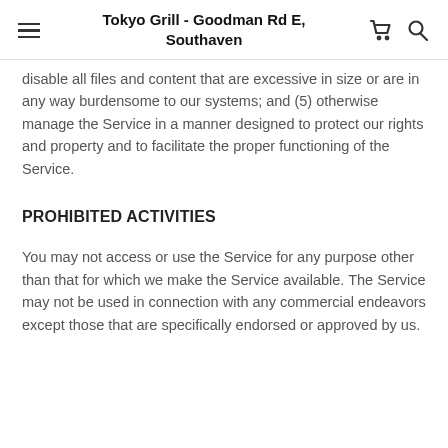Tokyo Grill - Goodman Rd E, Southaven
disable all files and content that are excessive in size or are in any way burdensome to our systems; and (5) otherwise manage the Service in a manner designed to protect our rights and property and to facilitate the proper functioning of the Service.
PROHIBITED ACTIVITIES
You may not access or use the Service for any purpose other than that for which we make the Service available. The Service may not be used in connection with any commercial endeavors except those that are specifically endorsed or approved by us.